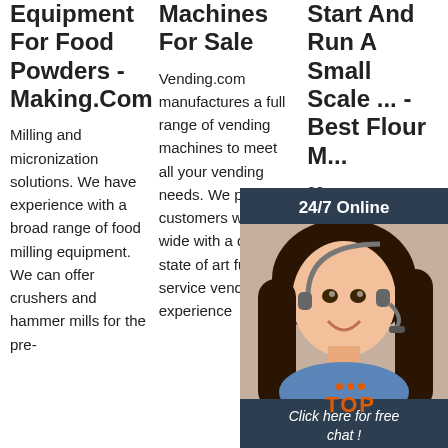Equipment For Food Powders - Making.Com
Milling and micronization solutions. We have experience with a broad range of food milling equipment. We can offer crushers and hammer mills for the pre-
Machines For Sale
Vending.com manufactures a full range of vending machines to meet all your vending needs. We provide customers world wide with a quality state of art full service vending experience
Start And Run A Small Scale ... - Best Flour M...
20 25 th m su Ch ha ranging spectrum of flour manufacturing equipment. For
[Figure (photo): Customer service agent photo with 24/7 Online overlay, 'Click here for free chat!' text, and orange QUOTATION button]